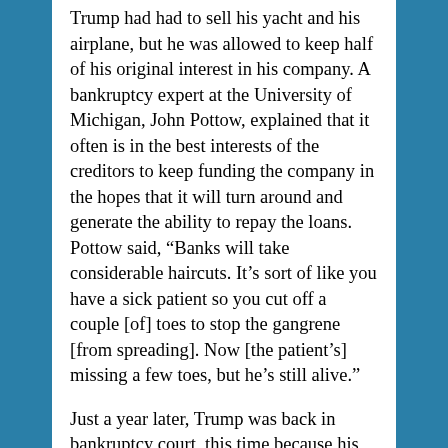Trump had had to sell his yacht and his airplane, but he was allowed to keep half of his original interest in his company. A bankruptcy expert at the University of Michigan, John Pottow, explained that it often is in the best interests of the creditors to keep funding the company in the hopes that it will turn around and generate the ability to repay the loans. Pottow said, “Banks will take considerable haircuts. It’s sort of like you have a sick patient so you cut off a couple [of] toes to stop the gangrene [from spreading]. Now [the patient’s] missing a few toes, but he’s still alive.”
Just a year later, Trump was back in bankruptcy court, this time because his Trump Plaza Hotel in Atlantic City was in trouble. The banks were owed nearly half a billion dollars, but they gave Trump the same deal as before: Keep half the hotel,